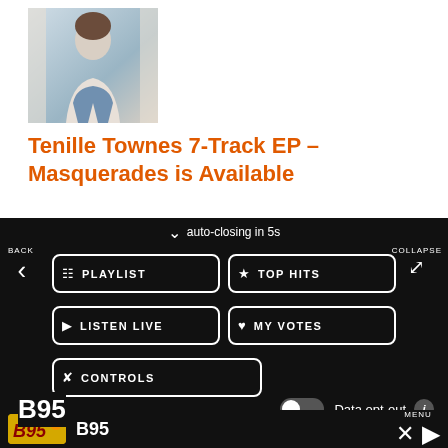[Figure (photo): Photo of a young woman sitting casually, wearing a white top and jeans]
Tenille Townes 7-Track EP – Masquerades is Available
[Figure (screenshot): Mobile app overlay panel with navigation menu showing: auto-closing in 5s, BACK, COLLAPSE, PLAYLIST, TOP HITS, LISTEN LIVE, MY VOTES, CONTROLS buttons, Data opt-out toggle, B95 station label, B95 logo bottom bar with MENU, close and play buttons]